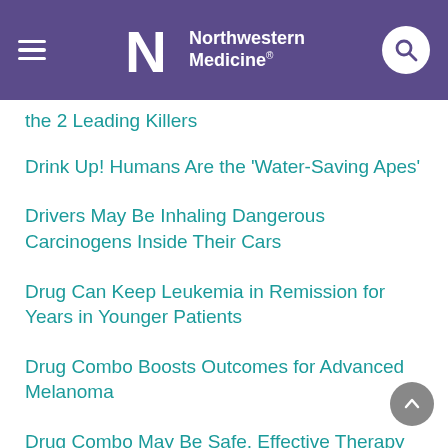Northwestern Medicine
the 2 Leading Killers
Drink Up! Humans Are the 'Water-Saving Apes'
Drivers May Be Inhaling Dangerous Carcinogens Inside Their Cars
Drug Can Keep Leukemia in Remission for Years in Younger Patients
Drug Combo Boosts Outcomes for Advanced Melanoma
Drug Combo May Be Safe, Effective Therapy for Rare Leukemia
Drug Combo May Boost Survival for Tough-to-Treat Liver Cancers
Drug Combo May Fight a Tough Form of Breast